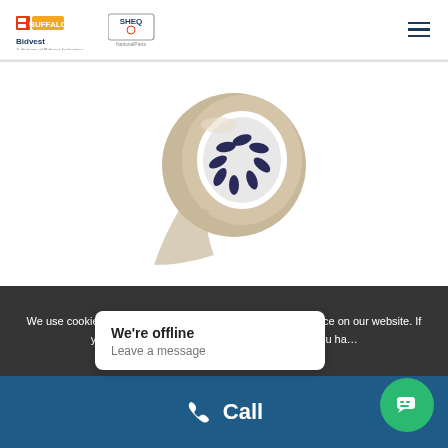[Figure (logo): Bidvest Buffalo SHEQ National Parts logos]
[Figure (photo): A roll of brown/beige packaging tape on white background]
We use cookies to ensure that we give you the best experience on our website. If you continue to use this site we presume that you ha...
Call
We're offline
Leave a message